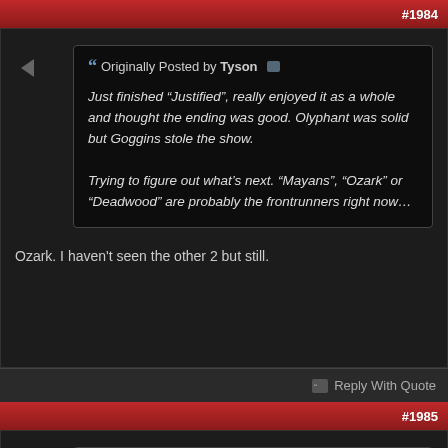#1984
Originally Posted by Tyson
Just finished “Justified”, really enjoyed it as a whole and thought the ending was good. Olyphant was solid but Goggins stole the show.

Trying to figure out what’s next. “Mayans”, “Ozark” or “Deadwood” are probably the frontrunners right now…
Ozark. I haven't seen the other 2 but still.
Reply With Quote
#1985
Originally Posted by Tyson